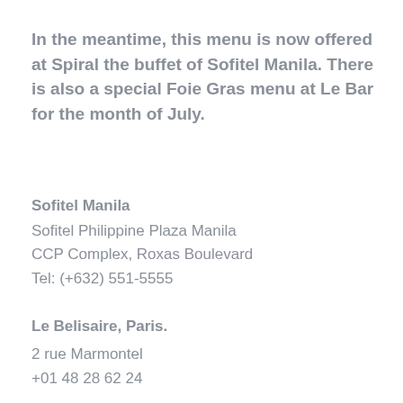In the meantime, this menu is now offered at Spiral the buffet of Sofitel Manila. There is also a special Foie Gras menu at Le Bar for the month of July.
Sofitel Manila
Sofitel Philippine Plaza Manila
CCP Complex, Roxas Boulevard
Tel: (+632) 551-5555
Le Belisaire, Paris.
2 rue Marmontel
+01 48 28 62 24